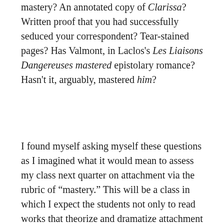mastery? An annotated copy of Clarissa? Written proof that you had successfully seduced your correspondent? Tear-stained pages? Has Valmont, in Laclos’s Les Liaisons Dangereuses mastered epistolary romance? Hasn’t it, arguably, mastered him?
I found myself asking myself these questions as I imagined what it would mean to assess my class next quarter on attachment via the rubric of “mastery.” This will be a class in which I expect the students not only to read works that theorize and dramatize attachment but also to